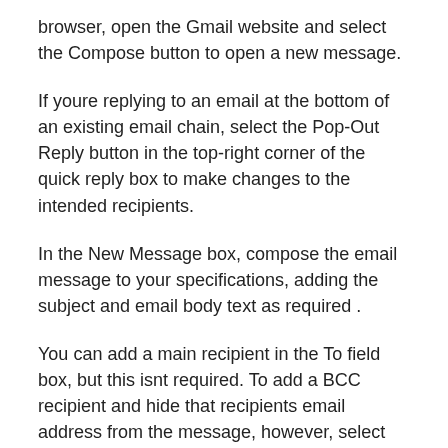browser, open the Gmail website and select the Compose button to open a new message.
If youre replying to an email at the bottom of an existing email chain, select the Pop-Out Reply button in the top-right corner of the quick reply box to make changes to the intended recipients.
In the New Message box, compose the email message to your specifications, adding the subject and email body text as required .
You can add a main recipient in the To field box, but this isnt required. To add a BCC recipient and hide that recipients email address from the message, however, select the BCC option positioned to the right of the To field box.